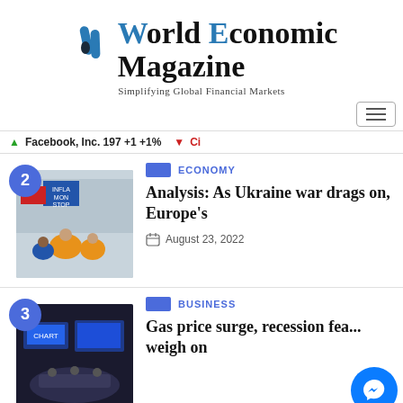[Figure (logo): World Economic Magazine logo with blue abstract icon and serif text]
Simplifying Global Financial Markets
↑Facebook, Inc. 197 +1 +1%  ↓Ci
2  ECONOMY  Analysis: As Ukraine war drags on, Europe's  August 23, 2022
3  BUSINESS  Gas price surge, recession fea... weigh on